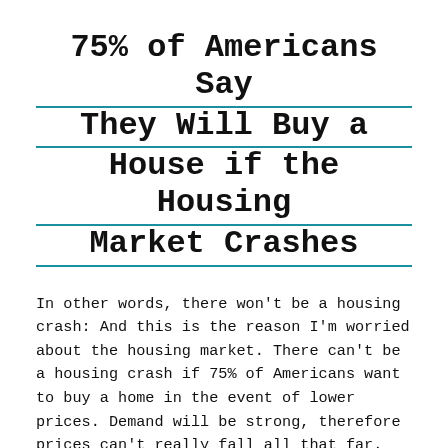75% of Americans Say They Will Buy a House if the Housing Market Crashes
In other words, there won't be a housing crash: And this is the reason I'm worried about the housing market. There can't be a housing crash if 75% of Americans want to buy a home in the event of lower prices. Demand will be strong, therefore prices can't really fall all that far. Even if,
Continue reading →